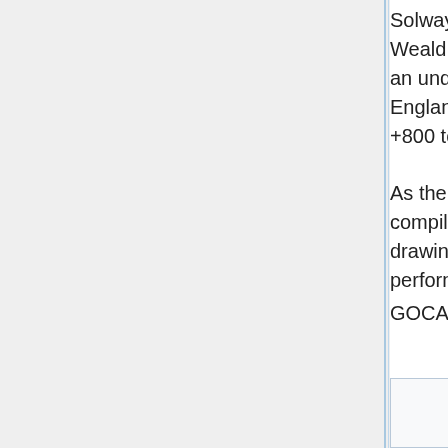Solway Basin, the East Midlands region of the Pennine Basin and Weald Basin models. The south-west Pennine Basin model provides an understanding of the regional bedrock structure in west central England (particularly for the Carboniferous rocks) and extends from +800 to -7200m OD.
As the south-west Pennine Basin Model was derived from digital data compiled for the Regional Subsurface Memoir series, tasks such as drawing seismic interpretation to well control have already been performed. This document describes the process of creating a GOCAD® model from derived digital contour data.
[Figure (other): Partial view of a box/figure at the bottom of the page, mostly cut off]